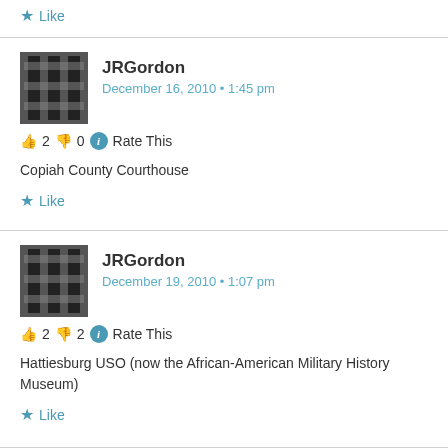Like
JRGordon
December 16, 2010 • 1:45 pm
👍 2 👎 0 ℹ Rate This
Copiah County Courthouse
Like
JRGordon
December 19, 2010 • 1:07 pm
👍 2 👎 2 ℹ Rate This
Hattiesburg USO (now the African-American Military History Museum)
Like